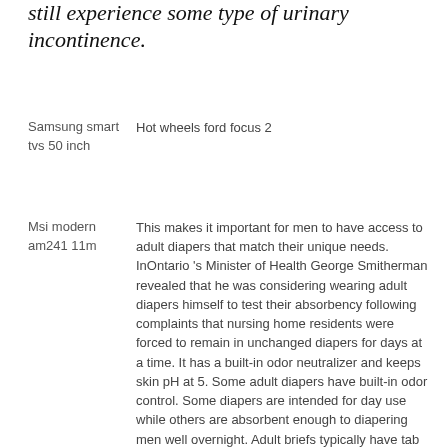still experience some type of urinary incontinence.
Samsung smart tvs 50 inch	Hot wheels ford focus 2
Msi modern am241 11m	This makes it important for men to have access to adult diapers that match their unique needs. InOntario 's Minister of Health George Smitherman revealed that he was considering wearing adult diapers himself to test their absorbency following complaints that nursing home residents were forced to remain in unchanged diapers for days at a time. It has a built-in odor neutralizer and keeps skin pH at 5. Some adult diapers have built-in odor control. Some diapers are intended for day use while others are absorbent enough to diapering men well overnight. Adult briefs typically have tab fasteners on the sides that can be undone or come with tear-away sides. Adult Diaper Rash Adult diaper rash, also known as adult diaper dermatitis, happens